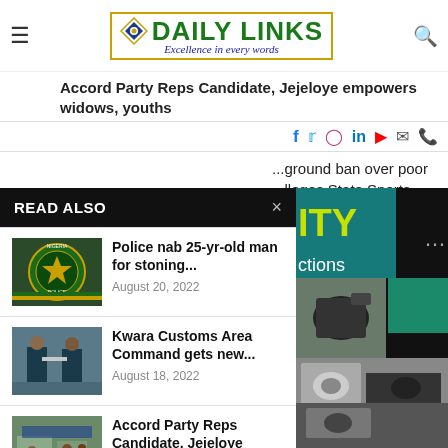Daily Links - Excellence in every words
Accord Party Reps Candidate, Jejeloye empowers widows, youths
Social icons: Facebook, Twitter, Instagram, LinkedIn, YouTube, Email, WhatsApp
...ground ban over poor ...lleges State Sports ...vation
READ ALSO
[Figure (photo): Nigeria Police badge/logo thumbnail]
Police nab 25-yr-old man for stoning...
August 20, 2022
[Figure (photo): Kwara Customs officers thumbnail]
Kwara Customs Area Command gets new...
August 18, 2022
[Figure (photo): Accord Party Reps event thumbnail]
Accord Party Reps Candidate, Jejeloye empowers...
August 17, 2022
[Figure (photo): Camera/video production equipment on right side]